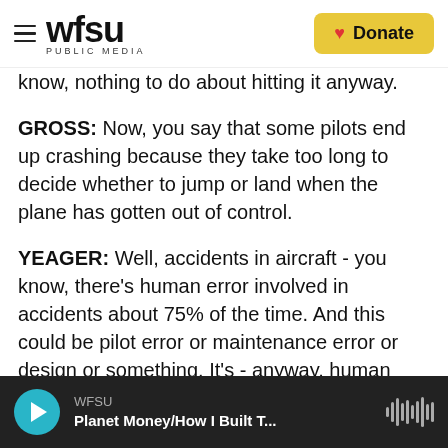WFSU PUBLIC MEDIA | Donate
know, nothing to do about hitting it anyway.
GROSS: Now, you say that some pilots end up crashing because they take too long to decide whether to jump or land when the plane has gotten out of control.
YEAGER: Well, accidents in aircraft - you know, there's human error involved in accidents about 75% of the time. And this could be pilot error or maintenance error or design or something. It's - anyway, human element enters into it. And in the early days when we started flying jet aircraft and we put ejection seats in them, then when a pilot
WFSU | Planet Money/How I Built T...